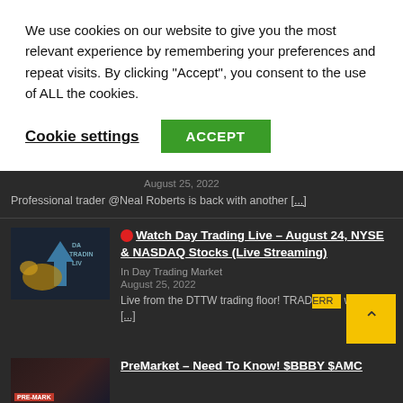We use cookies on our website to give you the most relevant experience by remembering your preferences and repeat visits. By clicking “Accept”, you consent to the use of ALL the cookies.
Cookie settings  ACCEPT
August 25, 2022
Professional trader @Neal Roberts is back with another [...]
Watch Day Trading Live – August 24, NYSE & NASDAQ Stocks (Live Streaming)
In Day Trading Market
August 25, 2022
Live from the DTTW trading floor! TRADE with 50+ [...]
PreMarket – Need To Know! $BBBY $AMC